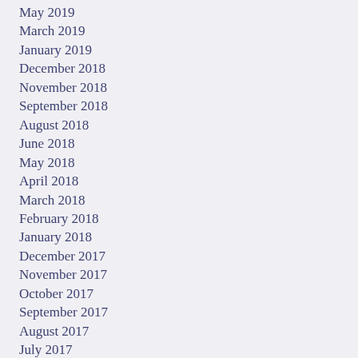May 2019
March 2019
January 2019
December 2018
November 2018
September 2018
August 2018
June 2018
May 2018
April 2018
March 2018
February 2018
January 2018
December 2017
November 2017
October 2017
September 2017
August 2017
July 2017